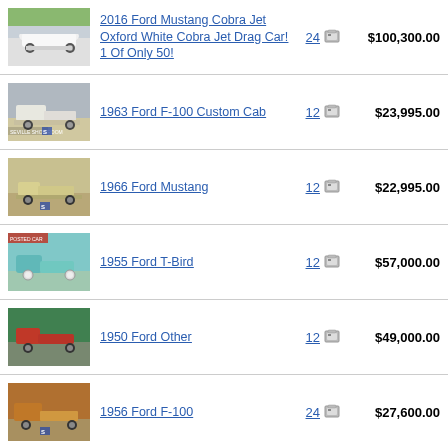2016 Ford Mustang Cobra Jet Oxford White Cobra Jet Drag Car! 1 Of Only 50! — 24 photos — $100,300.00
1963 Ford F-100 Custom Cab — 12 photos — $23,995.00
1966 Ford Mustang — 12 photos — $22,995.00
1955 Ford T-Bird — 12 photos — $57,000.00
1950 Ford Other — 12 photos — $49,000.00
1956 Ford F-100 — 24 photos — $27,600.00
(partial row at bottom)